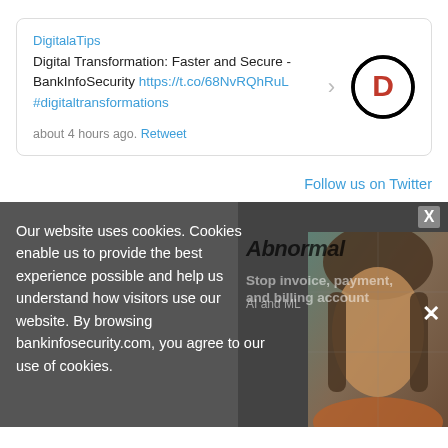DigitalaTips
Digital Transformation: Faster and Secure - BankInfoSecurity https://t.co/68NvRQhRuL
#digitaltransformations
about 4 hours ago. Retweet
Follow us on Twitter
Our website uses cookies. Cookies enable us to provide the best experience possible and help us understand how visitors use our website. By browsing bankinfosecurity.com, you agree to our use of cookies.
[Figure (screenshot): Advertisement overlay with Abnormal Security branding, text about stopping invoice payment and billing account fraud with AI and ML, and a face photo of a person]